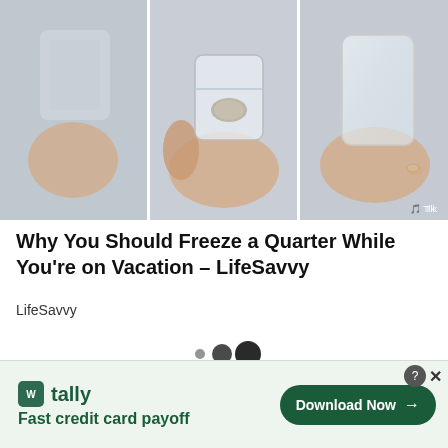[Figure (photo): Three-panel photo strip showing steps of freezing a quarter in a cup of water. Left panel: hand holding a plastic bag near a surface. Middle panel: hand holding a clear plastic cup with a coin (quarter) visible inside, partially filled with water/ice. Right panel: hand holding a frosted/icy clear cup. TikTok watermark visible in bottom right corner.]
Why You Should Freeze a Quarter While You’re on Vacation – LifeSavvy
LifeSavvy
[Figure (infographic): Three pagination dots of increasing size (small, medium, large) centered horizontally, indicating carousel position]
[Figure (infographic): Advertisement banner for Tally app. Shows Tally logo (green square with W icon) and name, tagline 'Fast credit card payoff', and a green 'Download Now' button with arrow. Close/question icons in top right corner.]